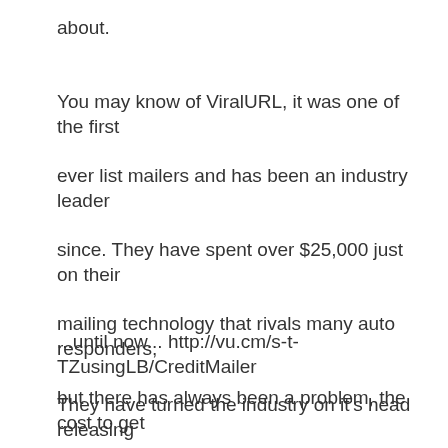about.
You may know of ViralURL, it was one of the first ever list mailers and has been an industry leader since. They have spent over $25,000 just on their mailing technology that rivals many auto responders, but there has always been a problem, the cost to get going was always out of most people's reach...
...until now... http://vu.cm/s-t-TZusingLB/CreditMailer
They have turned the industry on it's head releasing their new concept 'credit mailer' giving you the